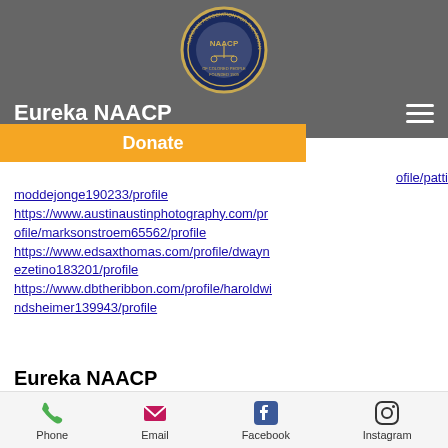[Figure (logo): NAACP circular seal/logo in navy and gold on gray navigation bar]
Eureka NAACP
Donate
Similar articles:
https://www.austinnaustinphotography.com/profile/pattimoddejonge190233/profile
https://www.austinaustinphotography.com/profile/marksonstroem65562/profile
https://www.edsaxthomas.com/profile/dwaynezetino183201/profile
https://www.dbtheribbon.com/profile/haroldwindsheimer139943/profile
Eureka NAACP
Phone   Email   Facebook   Instagram